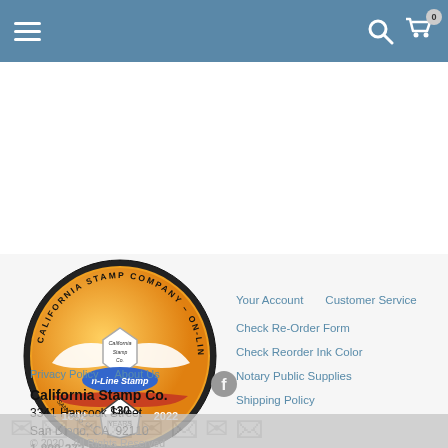Navigation bar with hamburger menu, search icon, and cart (0)
[Figure (logo): California Stamp Company On-Line Stamp Co. circular logo — established 1892 San Diego CA, 130 Years 1892-2022, orange and gold badge with eagle/wings]
Privacy Policy   About Us
Your Account   Customer Service
Check Re-Order Form
Check Reorder Ink Color (blue)
Notary Public Supplies
Shipping Policy
California Stamp Co.
3341 Hancock Street
San Diego, CA  92110
1-800-373-5614
© 2020 - All Rights Reserved
[Figure (logo): Facebook circle icon]
Watermark strip with stamp imagery